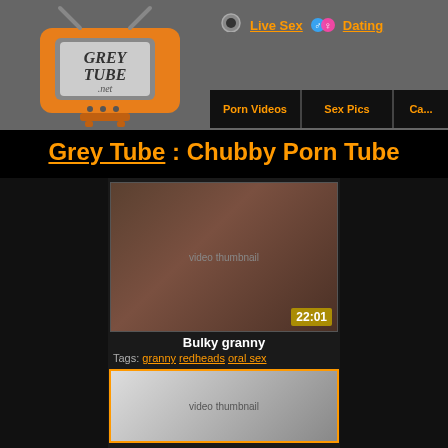[Figure (logo): Grey Tube .net logo on an orange retro TV illustration]
Live Sex   Dating
Porn Videos | Sex Pics | Ca...
Grey Tube : Chubby Porn Tube
[Figure (photo): Video thumbnail showing explicit adult content, duration 22:01]
Bulky granny
Tags: granny  redheads  oral sex
[Figure (photo): Second video thumbnail partial view]